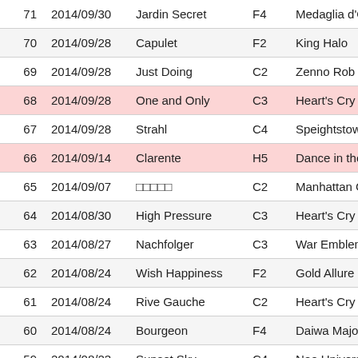| # | Date | Name | Cat | Sire |
| --- | --- | --- | --- | --- |
| 71 | 2014/09/30 | Jardin Secret | F4 | Medaglia d'Oro |
| 70 | 2014/09/28 | Capulet | F2 | King Halo |
| 69 | 2014/09/28 | Just Doing | C2 | Zenno Rob Roy |
| 68 | 2014/09/28 | One and Only | C3 | Heart's Cry |
| 67 | 2014/09/28 | Strahl | C4 | Speightstown |
| 66 | 2014/09/14 | Clarente | H5 | Dance in the Dark |
| 65 | 2014/09/07 | □□□□□ | C2 | Manhattan Cafe |
| 64 | 2014/08/30 | High Pressure | C3 | Heart's Cry |
| 63 | 2014/08/27 | Nachfolger | C3 | War Emblem |
| 62 | 2014/08/24 | Wish Happiness | F2 | Gold Allure |
| 61 | 2014/08/24 | Rive Gauche | C2 | Heart's Cry |
| 60 | 2014/08/24 | Bourgeon | F4 | Daiwa Major |
| 59 | 2014/08/23 | Sunset Sky | C4 | Neo Universe |
| 58 | 2014/08/20 | Eau de Vie | F3 | Symboli Kris S |